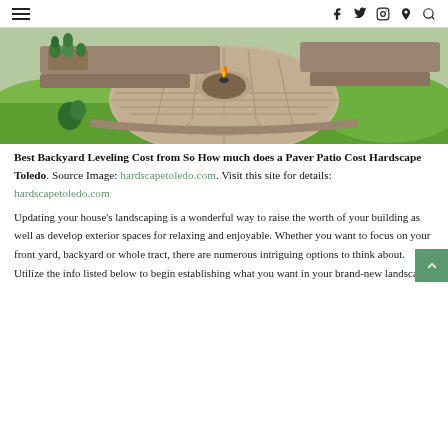≡  f  𝕥  ⊙  ℗  🔍
[Figure (photo): 3D rendering of a backyard paver patio with a circular fire pit in the center, stone retaining walls, planted garden beds, and surrounding green lawn.]
Best Backyard Leveling Cost from So How much does a Paver Patio Cost Hardscape Toledo. Source Image: hardscapetoledo.com. Visit this site for details: hardscapetoledo.com
Updating your house's landscaping is a wonderful way to raise the worth of your building as well as develop exterior spaces for relaxing and enjoyable. Whether you want to focus on your front yard, backyard or whole tract, there are numerous intriguing options to think about. Utilize the info listed below to begin establishing what you want in your brand-new landscape.